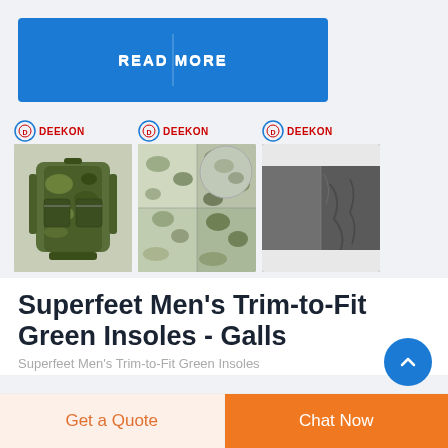[Figure (other): Blue READ MORE button with vertical divider line in center]
[Figure (photo): Three Deekon-branded product images: camouflage military backpack, camouflage fabric/material, and dark grey fabric/material]
Superfeet Men's Trim-to-Fit Green Insoles - Galls
Superfeet Men's Trim-to-Fit Green Insoles
[Figure (other): Blue circular scroll-up/chevron button]
Get a Quote
Chat Now